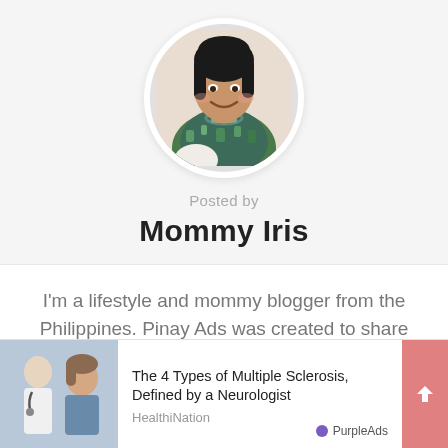[Figure (photo): Circular profile photo of Mommy Iris, a smiling woman with dark hair wearing a green patterned top and necklace]
Posted by
Mommy Iris
I'm a lifestyle and mommy blogger from the Philippines. Pinay Ads was created to share bits and pieces of my life and my family. I
[Figure (photo): Advertisement overlay showing a doctor and patient. Title: The 4 Types of Multiple Sclerosis, Defined by a Neurologist. Source: HealthiNation. Attributed to PurpleAds.]